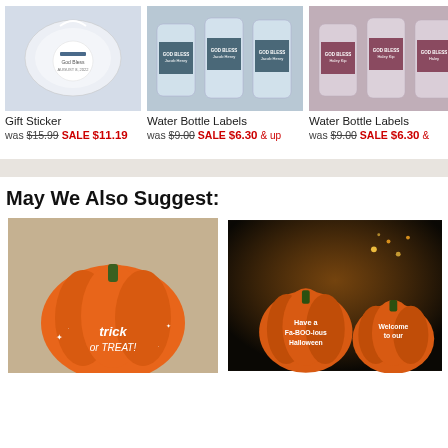[Figure (photo): Gift sticker product photo - clear bag with custom sticker]
Gift Sticker
was $15.99 SALE $11.19
[Figure (photo): Water bottle labels - blue/navy labels on water bottles]
Water Bottle Labels
was $9.00 SALE $6.30 & up
[Figure (photo): Water bottle labels - burgundy/mauve labels on water bottles]
Water Bottle Labels
was $9.00 SALE $6.30 &
May We Also Suggest:
[Figure (photo): Orange pumpkin decoration with 'trick or treat' text]
[Figure (photo): Two Halloween pumpkins with 'Have a Fa-BOO-lous Halloween' and 'Welcome to our' text]